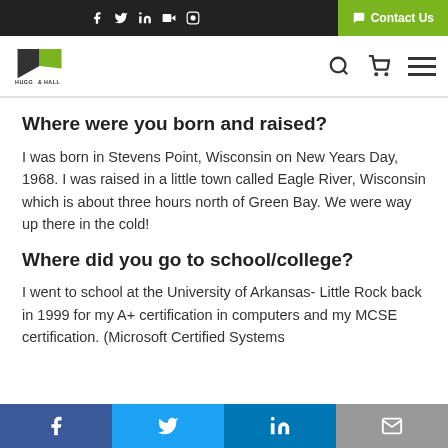Hugg & Hall - Contact Us
Where were you born and raised?
I was born in Stevens Point, Wisconsin on New Years Day, 1968. I was raised in a little town called Eagle River, Wisconsin which is about three hours north of Green Bay. We were way up there in the cold!
Where did you go to school/college?
I went to school at the University of Arkansas- Little Rock back in 1999 for my A+ certification in computers and my MCSE certification. (Microsoft Certified Systems
Facebook Twitter LinkedIn Email